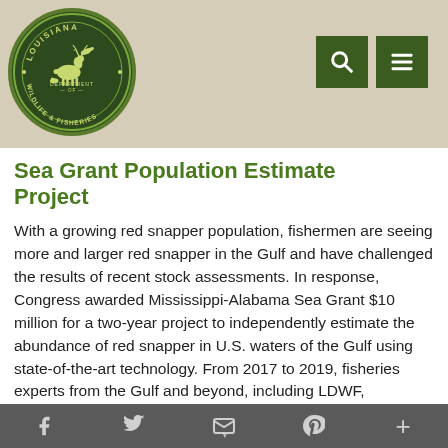[Figure (logo): Louisiana Department of Wildlife & Fisheries circular seal logo with deer, duck, alligator on dark green background]
Sea Grant Population Estimate Project
With a growing red snapper population, fishermen are seeing more and larger red snapper in the Gulf and have challenged the results of recent stock assessments. In response, Congress awarded Mississippi-Alabama Sea Grant $10 million for a two-year project to independently estimate the abundance of red snapper in U.S. waters of the Gulf using state-of-the-art technology. From 2017 to 2019, fisheries experts from the Gulf and beyond, including LDWF, participated in this project, dubbed the Great Red...
f  Twitter  Email  Pinterest  +